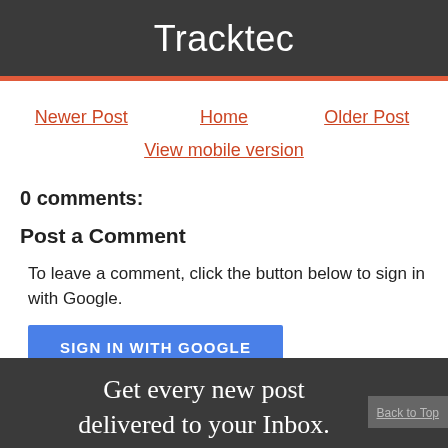Tracktec
Newer Post | Home | Older Post
View mobile version
0 comments:
Post a Comment
To leave a comment, click the button below to sign in with Google.
SIGN IN WITH GOOGLE
Get every new post delivered to your Inbox.